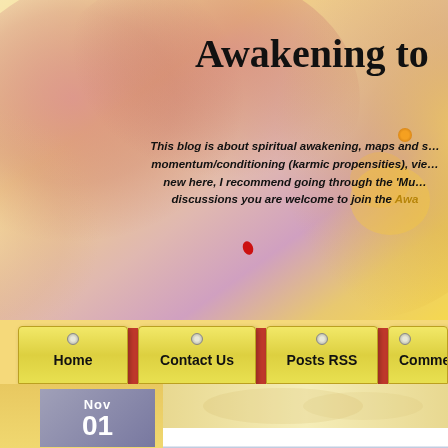[Figure (screenshot): Blog header with watercolor background in warm pinks, reds, and yellows. Site title 'Awakening to...' partially visible at top right.]
Awakening to
This blog is about spiritual awakening, maps and s... momentum/conditioning (karmic propensities), vie... new here, I recommend going through the 'Mu... discussions you are welcome to join the Awa...
Home | Contact Us | Posts RSS | Comme...
Dangers of Reifying Unchanging Consc...
Taken from AtR Guide
~ Reifying Host and Unchanging Awareness)
There is a tendency at the I AM phase to reify the space